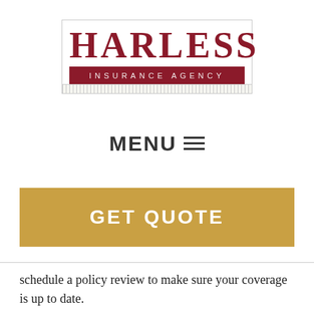[Figure (logo): Harless Insurance Agency logo — large dark red serif 'HARLESS' text above a dark red banner reading 'INSURANCE AGENCY', with a decorative ribbon border]
MENU ☰
GET QUOTE
schedule a policy review to make sure your coverage is up to date.